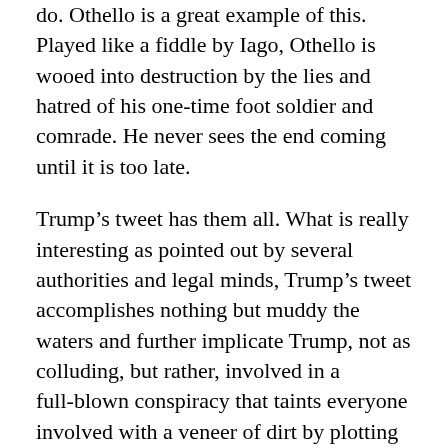do. Othello is a great example of this. Played like a fiddle by Iago, Othello is wooed into destruction by the lies and hatred of his one-time foot soldier and comrade. He never sees the end coming until it is too late.
Trump's tweet has them all. What is really interesting as pointed out by several authorities and legal minds, Trump's tweet accomplishes nothing but muddy the waters and further implicate Trump, not as colluding, but rather, involved in a full-blown conspiracy that taints everyone involved with a veneer of dirt by plotting with a foreign enemy to subjugate American democracy.
His final line, “I did not know about it!”, would be laughable if it was not so pathetic. The entire tweet is an attempt to contort the facts to fit a